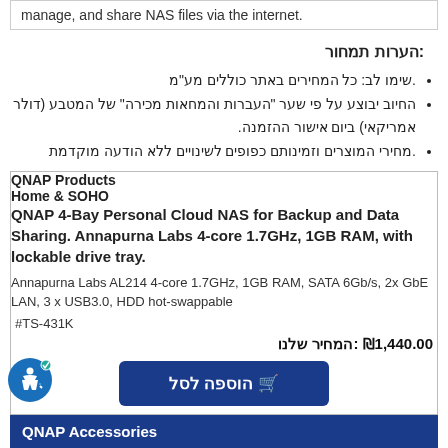manage, and share NAS files via the internet.
הערות תמחור:
שימו לב: כל המחירים באתר כוללים מע"מ.
החיוב יבוצע על פי שער "העברות והמחאות מכירה" של המטבע (דולר אמריקאי) ביום אישור ההזמנה.
מחירי המוצרים וזמינותם כפופים לשינויים ללא הודעה מוקדמת.
| QNAP Products |
| --- |
| Home & SOHO |
| QNAP 4-Bay Personal Cloud NAS for Backup and Data Sharing. Annapurna Labs 4-core 1.7GHz, 1GB RAM, with lockable drive tray. | Annapurna Labs AL214 4-core 1.7GHz, 1GB RAM, SATA 6Gb/s, 2x GbE LAN, 3 x USB3.0, HDD hot-swappable | #TS-431K | המחיר שלנו: ₪1,440.00 |
QNAP Accessories